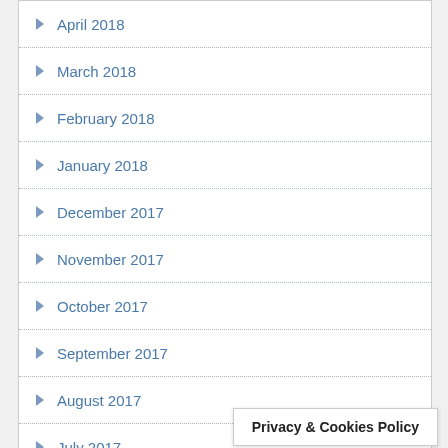April 2018
March 2018
February 2018
January 2018
December 2017
November 2017
October 2017
September 2017
August 2017
July 2017
June 2017
May 2017
April 2017
March 2017
February 2017
Privacy & Cookies Policy